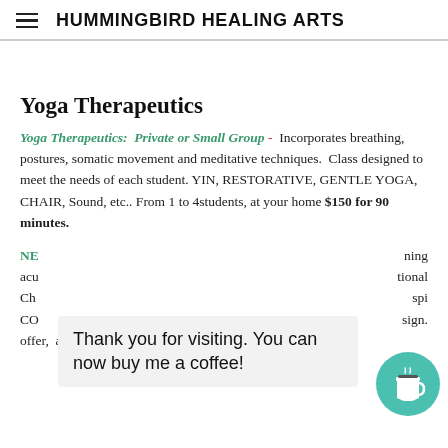HUMMINGBIRD HEALING ARTS
Yoga Therapeutics
Yoga Therapeutics: Private or Small Group – Incorporates breathing, postures, somatic movement and meditative techniques. Class designed to meet the needs of each student. YIN, RESTORATIVE, GENTLE YOGA, CHAIR, Sound, etc.. From 1 to 4students, at your home $150 for 90 minutes.
NE… ning acu… tional Ch… spi… CO… sign… offer, a practice that integrates acupressure, restorative yin
Thank you for visiting. You can now buy me a coffee!